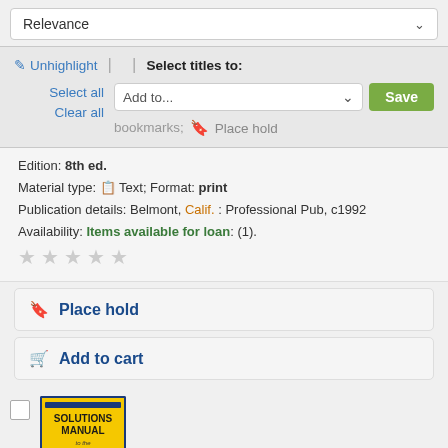Relevance
Unhighlight | Select titles to:
Select all
Clear all
Add to... Save
Place hold
Edition: 8th ed.
Material type: Text; Format: print
Publication details: Belmont, Calif. : Professional Pub, c1992
Availability: Items available for loan: (1).
Place hold
Add to cart
[Figure (illustration): Book cover for Solutions Manual to Engineer-in-Training Reference Manual, yellow cover with blue border]